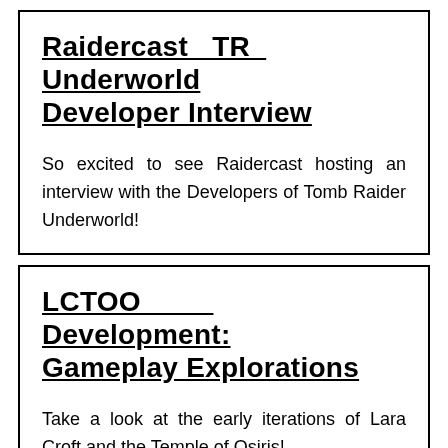Raidercast TR Underworld Developer Interview
So excited to see Raidercast hosting an interview with the Developers of Tomb Raider Underworld!
LCTOO Development: Gameplay Explorations
Take a look at the early iterations of Lara Croft and the Temple of Osiris!